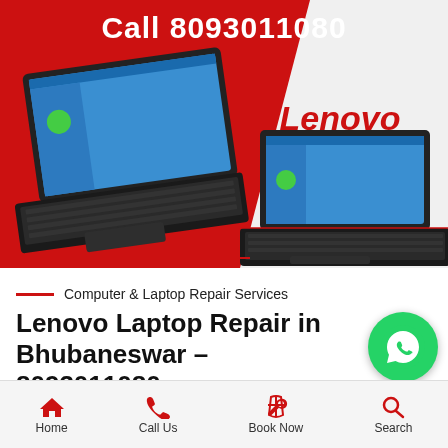[Figure (illustration): Lenovo advertisement banner with red and white background showing two Lenovo laptops, 'Call 8093011080' text at top, Lenovo logo and tagline 'get an excellent service from us..' on the right side]
Computer & Laptop Repair Services
Lenovo Laptop Repair in Bhubaneswar – 8093011080 –
[Figure (illustration): WhatsApp green circular button with phone handset icon]
Home   Call Us   Book Now   Search